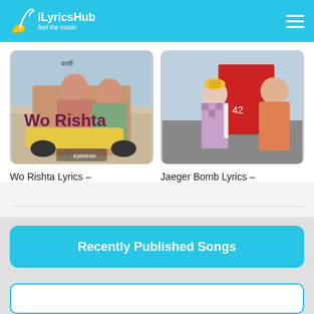iLyricsHub - feel the music
[Figure (photo): Movie still thumbnail for 'Wo Rishta' showing a man and woman on a scooter with text 'Wo Rishta' overlaid and 'Kashi' movie branding]
Wo Rishta Lyrics –
[Figure (photo): Movie still thumbnail for 'Jaeger Bomb' showing a woman in a checkered dress and a man in a city street setting]
Jaeger Bomb Lyrics –
Recently Published Songs